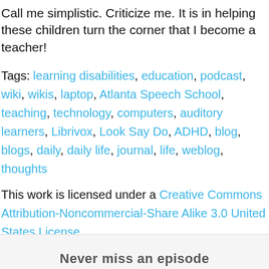Call me simplistic. Criticize me. It is in helping these children turn the corner that I become a teacher!
Tags: learning disabilities, education, podcast, wiki, wikis, laptop, Atlanta Speech School, teaching, technology, computers, auditory learners, Librivox, Look Say Do, ADHD, blog, blogs, daily, daily life, journal, life, weblog, thoughts
This work is licensed under a Creative Commons Attribution-Noncommercial-Share Alike 3.0 United States License.
Never miss an episode